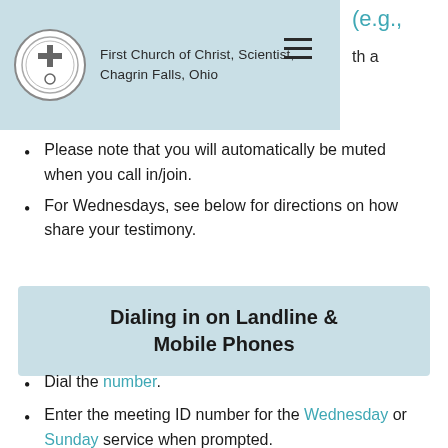First Church of Christ, Scientist, Chagrin Falls, Ohio
Please note that you will automatically be muted when you call in/join.
For Wednesdays, see below for directions on how share your testimony.
Dialing in on Landline & Mobile Phones
Dial the number.
Enter the meeting ID number for the Wednesday or Sunday service when prompted.